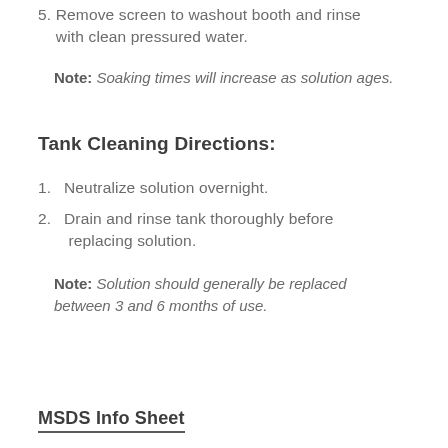5. Remove screen to washout booth and rinse with clean pressured water.
Note: Soaking times will increase as solution ages.
Tank Cleaning Directions:
1. Neutralize solution overnight.
2. Drain and rinse tank thoroughly before replacing solution.
Note: Solution should generally be replaced between 3 and 6 months of use.
MSDS Info Sheet